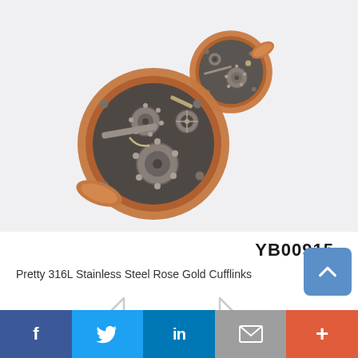[Figure (photo): Two round rose gold cufflinks with exposed mechanical watch movement visible inside, showing gears and intricate watchwork. The cufflinks have a warm rose gold rim with a dark grey/silver watch mechanism interior.]
YB00915
Pretty 316L Stainless Steel Rose Gold Cufflinks
[Figure (other): Navigation arrows (left and right chevrons) for product image carousel]
[Figure (other): Blue rounded square back-to-top button with upward chevron icon]
Facebook | Twitter | LinkedIn | Email | More